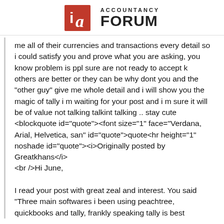ACCOUNTANCY FORUM
me all of their currencies and transactions every detail so i could satisfy you and prove what you are asking, you know problem is ppl sure are not ready to accept k others are better or they can be why dont you and the "other guy" give me whole detail and i will show you the magic of tally i m waiting for your post and i m sure it will be of value not talking talkint talking .. stay cute
<blockquote id="quote"><font size="1" face="Verdana, Arial, Helvetica, san" id="quote">quote<hr height="1" noshade id="quote"><i>Originally posted by Greatkhans</i>
<br />Hi June,

I read your post with great zeal and interest. You said "Three main softwares i been using peachtree, quickbooks and tally, frankly speaking tally is best